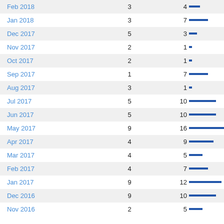| Month | Col2 | Col3 |
| --- | --- | --- |
| Feb 2018 | 3 | 4 |
| Jan 2018 | 3 | 7 |
| Dec 2017 | 5 | 3 |
| Nov 2017 | 2 | 1 |
| Oct 2017 | 2 | 1 |
| Sep 2017 | 1 | 7 |
| Aug 2017 | 3 | 1 |
| Jul 2017 | 5 | 10 |
| Jun 2017 | 5 | 10 |
| May 2017 | 9 | 16 |
| Apr 2017 | 4 | 9 |
| Mar 2017 | 4 | 5 |
| Feb 2017 | 4 | 7 |
| Jan 2017 | 9 | 12 |
| Dec 2016 | 9 | 10 |
| Nov 2016 | 2 | 5 |